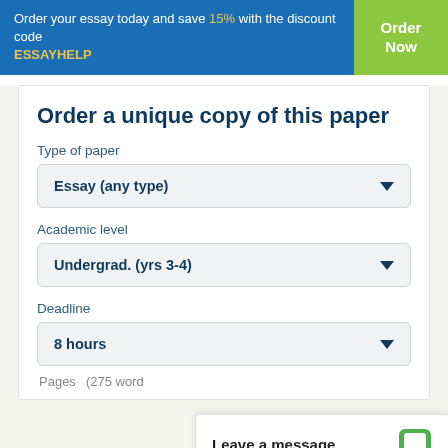Order your essay today and save 15% with the discount code ESSAYHELP
Order a unique copy of this paper
Type of paper
Essay (any type)
Academic level
Undergrad. (yrs 3-4)
Deadline
8 hours
Pages
(275 word
Leave a message